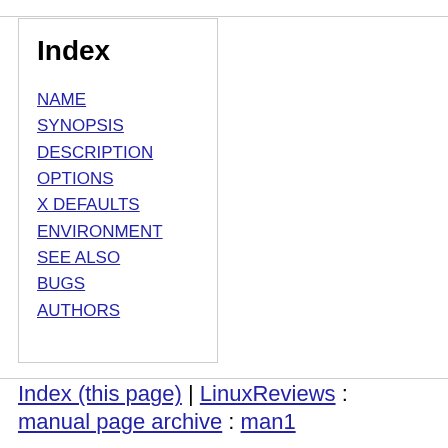Index
NAME
SYNOPSIS
DESCRIPTION
OPTIONS
X DEFAULTS
ENVIRONMENT
SEE ALSO
BUGS
AUTHORS
Index (this page) | LinuxReviews : manual page archive : man1